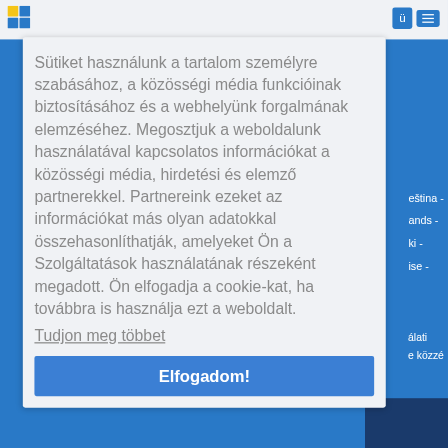ü ≡
Sütiket használunk a tartalom személyre szabásához, a közösségi média funkcióinak biztosításához és a webhelyünk forgalmának elemzéséhez. Megosztjuk a weboldalunk használatával kapcsolatos információkat a közösségi média, hirdetési és elemző partnerekkel. Partnereink ezeket az információkat más olyan adatokkal összehasonlíthatják, amelyeket Ön a Szolgáltatások használatának részeként megadott. Ön elfogadja a cookie-kat, ha továbbra is használja ezt a weboldalt.
Tudjon meg többet
Elfogadom!